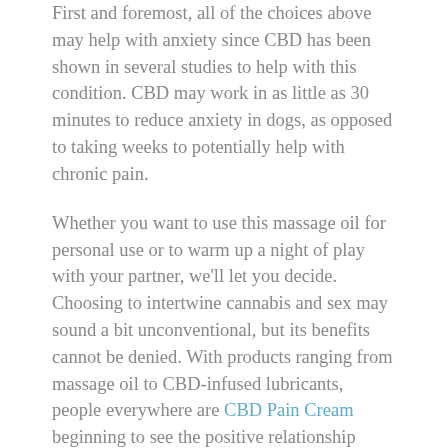First and foremost, all of the choices above may help with anxiety since CBD has been shown in several studies to help with this condition. CBD may work in as little as 30 minutes to reduce anxiety in dogs, as opposed to taking weeks to potentially help with chronic pain.
Whether you want to use this massage oil for personal use or to warm up a night of play with your partner, we'll let you decide. Choosing to intertwine cannabis and sex may sound a bit unconventional, but its benefits cannot be denied. With products ranging from massage oil to CBD-infused lubricants, people everywhere are CBD Pain Cream beginning to see the positive relationship between cannabis and intimacy. With the variety of products available that are designed for sexual experiences, there's truly something out there for everyone. Your skin is the largest organ of your body, but CBD cannot be absorbed into your bloodstream by applying it topically.
When exploring CBD Gummies as a treatment option, always remember to look for high-quality shops that offer third-party testing and ingredients lists. Always talk to your doctor to